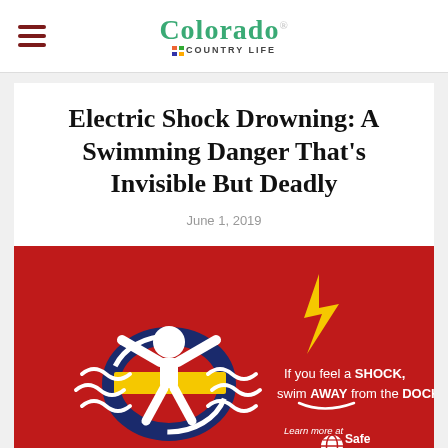Colorado Country Life
Electric Shock Drowning: A Swimming Danger That’s Invisible But Deadly
June 1, 2019
[Figure (infographic): Red background infographic showing a white stick figure swimmer in a life preserver ring (navy and yellow) surrounded by wavy water lines. On the right: yellow lightning bolt, text 'If you feel a SHOCK, swim AWAY from the DOCK!' and 'Learn more at SafeElectricity.org' with Safe Electricity logo.]